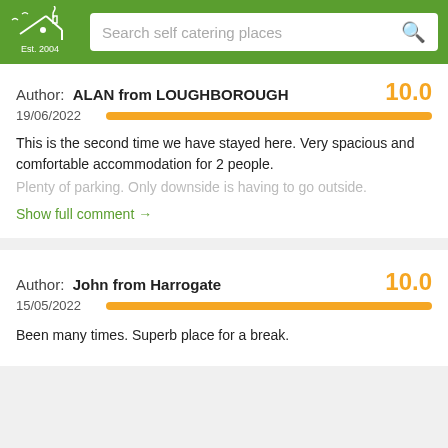Self Catering Places – Est. 2004 | Search self catering places
Author: ALAN from LOUGHBOROUGH  10.0
19/06/2022
This is the second time we have stayed here. Very spacious and comfortable accommodation for 2 people. Plenty of parking. Only downside is having to go outside.
Show full comment →
Author: John from Harrogate  10.0
15/05/2022
Been many times. Superb place for a break.